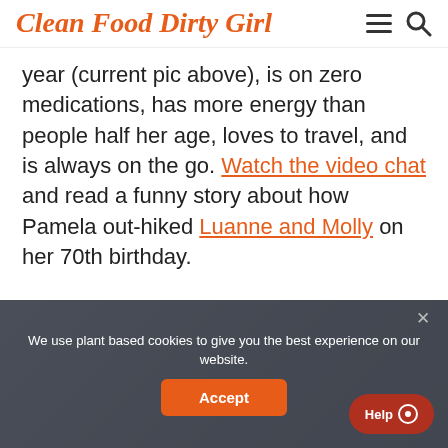Clean Food Dirty Girl
year (current pic above), is on zero medications, has more energy than people half her age, loves to travel, and is always on the go. Watch the video chat and read a funny story about how Pamela out-hiked Luanne and Molly on her 70th birthday.
[Figure (photo): Dark overlay / cookie consent banner over a photo background showing a person, with an 'Accept' button and a 'Help' button]
We use plant based cookies to give you the best experience on our website.